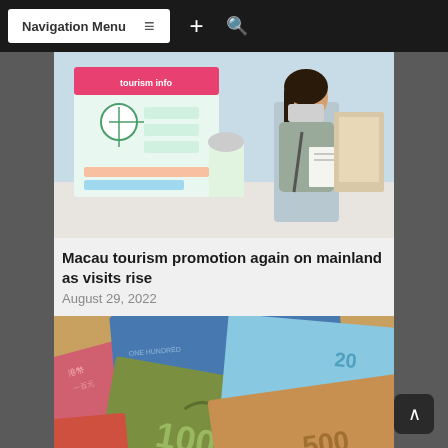Navigation Menu
[Figure (photo): A masked woman reading a brochure at a tourism information display with illustrated maps and colorful infographic boards]
Macau tourism promotion again on mainland as visits rise
August 29, 2022
[Figure (photo): Close-up of Hong Kong banknotes including 100, 500, 1000 denominations fanned out]